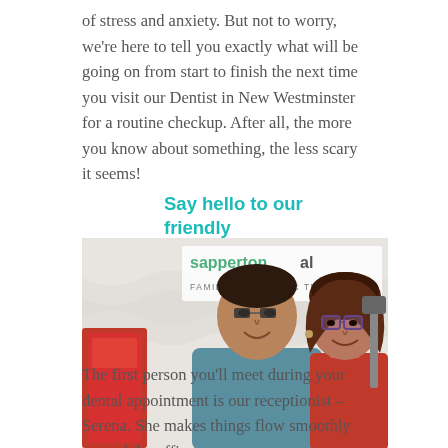of stress and anxiety. But not to worry, we're here to tell you exactly what will be going on from start to finish the next time you visit our Dentist in New Westminster for a routine checkup. After all, the more you know about something, the less scary it seems!
Say hello to our friendly receptionist
[Figure (photo): Photo of two people smiling in front of a Sapperton Dental Family & Cosmetic Dentistry banner. A man on the left and a woman with glasses on the right.]
The first person you'll meet during your dental appointment is our receptionist – Serena. She makes things flow smoothly around the office